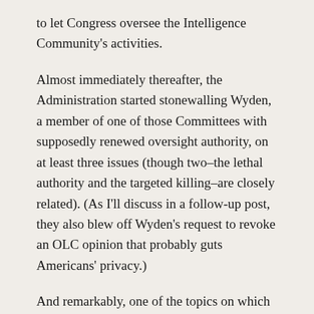to let Congress oversee the Intelligence Community's activities.
Almost immediately thereafter, the Administration started stonewalling Wyden, a member of one of those Committees with supposedly renewed oversight authority, on at least three issues (though two–the lethal authority and the targeted killing–are closely related). (As I'll discuss in a follow-up post, they also blew off Wyden's request to revoke an OLC opinion that probably guts Americans' privacy.)
And remarkably, one of the topics on which the IC is stonewalling Wyden–where the IC has engaged in lethal counterterrorism authorities–may well be precisely the issue that set off this process back in